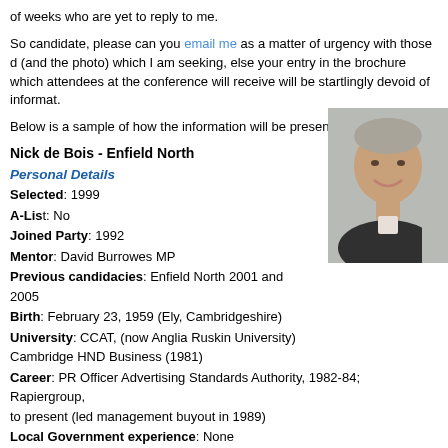of weeks who are yet to reply to me.
So candidate, please can you email me as a matter of urgency with those d (and the photo) which I am seeking, else your entry in the brochure which attendees at the conference will receive will be startlingly devoid of informat.
Below is a sample of how the information will be presented:
Nick de Bois - Enfield North
Personal Details
Selected: 1999
A-List: No
Joined Party: 1992
Mentor: David Burrowes MP
Previous candidacies: Enfield North 2001 and 2005
Birth: February 23, 1959 (Ely, Cambridgeshire)
University: CCAT, (now Anglia Ruskin University) Cambridge HND Business (1981)
Career: PR Officer Advertising Standards Authority, 1982-84; Rapiergroup, to present (led management buyout in 1989)
Local Government experience: None
[Figure (photo): Portrait photo of Nick de Bois, a middle-aged man with grey hair, smiling]
Contact Details
Website/Blog: www.nickdebois.com
Email: nickdebois@enfieldnorth.org